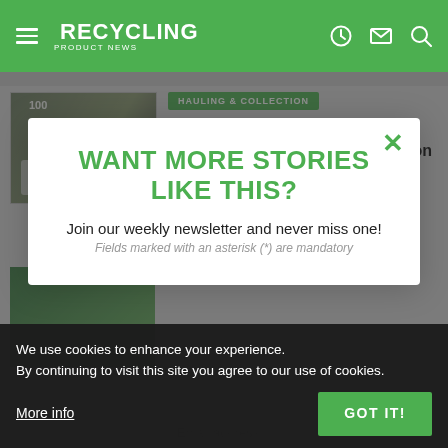RECYCLING PRODUCT NEWS
[Figure (screenshot): Website screenshot of Recycling Product News with a partially visible article about Lion Electric fleet electrification, overlaid by a newsletter signup modal and a cookie consent bar.]
WANT MORE STORIES LIKE THIS?
Join our weekly newsletter and never miss one!
Fields marked with an asterisk (*) are mandatory
We use cookies to enhance your experience. By continuing to visit this site you agree to our use of cookies.
More info
GOT IT!